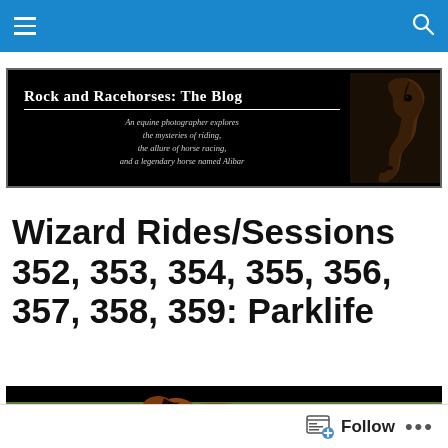Navigation bar with menu and search icons
[Figure (illustration): Rock and Racehorses: The Blog banner with black background, blog title, subtitle text about an equine photographer, and a horse head photo on the right]
Wizard Rides/Sessions 352, 353, 354, 355, 356, 357, 358, 359: Parklife
[Figure (photo): Partial photo of a brown horse running in a green field/park setting]
Follow ...